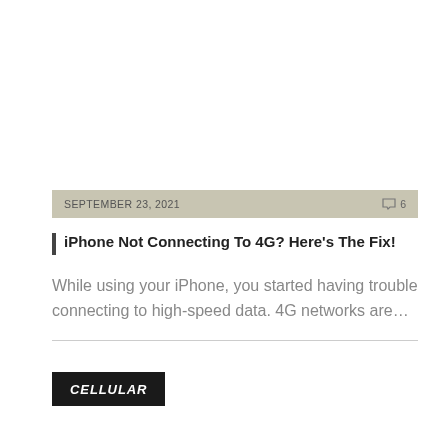SEPTEMBER 23, 2021   💬 6
iPhone Not Connecting To 4G? Here's The Fix!
While using your iPhone, you started having trouble connecting to high-speed data. 4G networks are...
CELLULAR